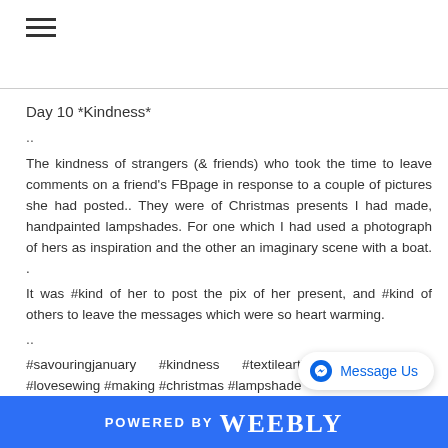☰
Day 10 *Kindness*
..
The kindness of strangers (& friends) who took the time to leave comments on a friend's FBpage in response to a couple of pictures she had posted.. They were of Christmas presents I had made, handpainted lampshades. For one which I had used a photograph of hers as inspiration and the other an imaginary scene with a boat. .
It was #kind of her to post the pix of her present, and #kind of others to leave the messages which were so heart warming.
..
#savouringjanuary    #kindness     #textileartist     #pictures #lovesewing #making #christmas #lampshade
Day 11 *Soft*
..
POWERED BY weebly